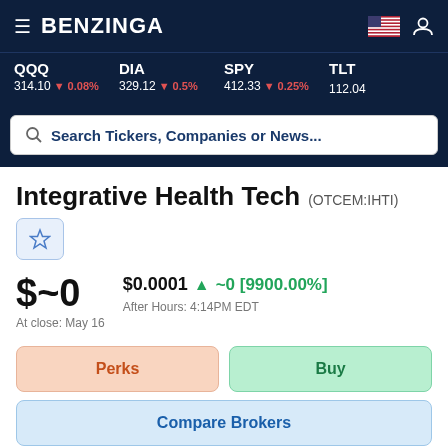BENZINGA
QQQ 314.10 ▼ 0.08%  DIA 329.12 ▼ 0.5%  SPY 412.33 ▼ 0.25%  TLT 112.04
Search Tickers, Companies or News...
Integrative Health Tech (OTCEM:IHTI)
$~0  At close: May 16
$0.0001  ▲ ~0 [9900.00%]  After Hours: 4:14PM EDT
Perks
Buy
Compare Brokers